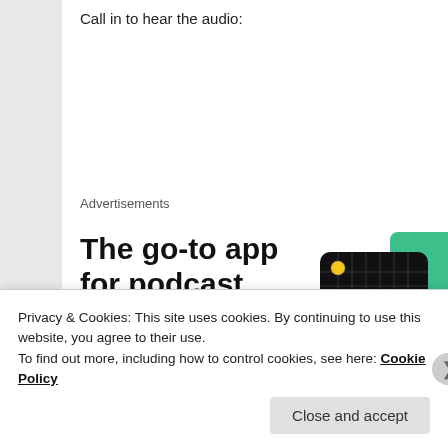Call in to hear the audio:
Advertisements
[Figure (screenshot): Advertisement for a podcast app featuring bold headline 'The go-to app for podcast lovers.' with a red 'Download now' link and podcast artwork cards including '99% Invisible' on black background with yellow grid, a green card, and a blue card.]
Privacy & Cookies: This site uses cookies. By continuing to use this website, you agree to their use.
To find out more, including how to control cookies, see here: Cookie Policy
Close and accept